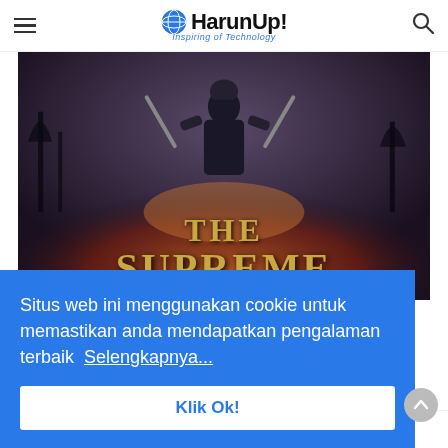HarunUp! Inspiring of Technology
[Figure (illustration): Book cover artwork for 'The Supreme' showing a dark armored warrior figure with swords against a fiery background with text 'THE SUPREME' in gold letters]
Situs web ini menggunakan cookie untuk memastikan anda mendapatkan pengalaman terbaik  Selengkapnya...
Klik Ok!
The novel entitled The Supreme God System is very